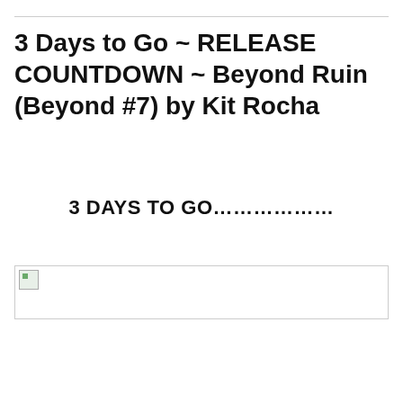3 Days to Go ~ RELEASE COUNTDOWN ~ Beyond Ruin (Beyond #7) by Kit Rocha
3 DAYS TO GO………………
[Figure (photo): Broken/missing image placeholder with small green icon in top-left corner, shown as a bordered rectangle]